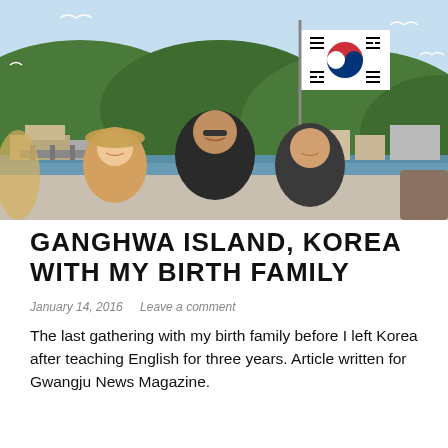[Figure (photo): Three people posing together outdoors near a harbor with a Korean Taegukgi flag visible in the background, green hills, blue sky with seagulls flying, and marina/docks behind them.]
GANGHWA ISLAND, KOREA WITH MY BIRTH FAMILY
January 14, 2016   Leave a comment
The last gathering with my birth family before I left Korea after teaching English for three years. Article written for Gwangju News Magazine.